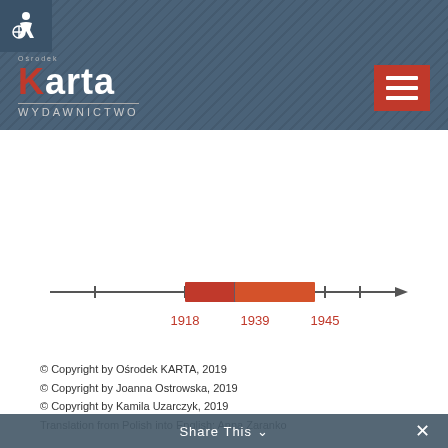[Figure (logo): Ośrodek Karta Wydawnictwo logo with red K on dark header background with diagonal stripe texture and hamburger menu button]
[Figure (infographic): Historical timeline with orange/red highlighted segments between 1918 and 1945, with tick marks and an arrow pointing right]
© Copyright by Ośrodek KARTA, 2019
© Copyright by Joanna Ostrowska, 2019
© Copyright by Kamila Uzarczyk, 2019
Translation from Polish into English: Anna Zaranko